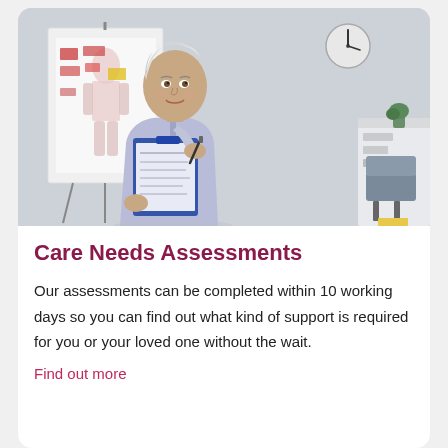[Figure (photo): A middle-aged woman with short grey hair wearing light blue scrubs, holding a blue clipboard and a pen, smiling at the camera. Behind her is a medical anatomy chart on a flip board and a clock on the wall.]
Care Needs Assessments
Our assessments can be completed within 10 working days so you can find out what kind of support is required for you or your loved one without the wait.
Find out more